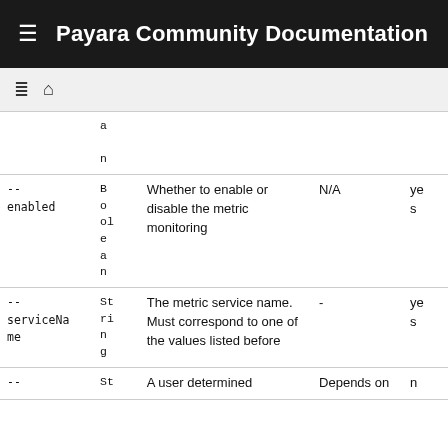Payara Community Documentation
| Option | Type | Description | Default | Required |
| --- | --- | --- | --- | --- |
| --
enabled | B
o
ol
e
a
n | Whether to enable or disable the metric monitoring | N/A | yes |
| --
serviceName | St
ri
n
g | The metric service name. Must correspond to one of the values listed before | - | yes |
| -- | St | A user determined | Depends on | n |